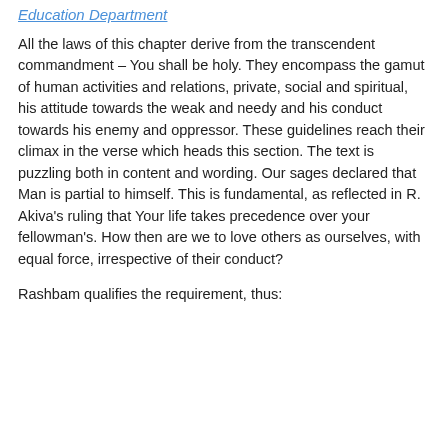Education Department
All the laws of this chapter derive from the transcendent commandment – You shall be holy. They encompass the gamut of human activities and relations, private, social and spiritual, his attitude towards the weak and needy and his conduct towards his enemy and oppressor. These guidelines reach their climax in the verse which heads this section. The text is puzzling both in content and wording. Our sages declared that Man is partial to himself. This is fundamental, as reflected in R. Akiva's ruling that Your life takes precedence over your fellowman's. How then are we to love others as ourselves, with equal force, irrespective of their conduct?
Rashbam qualifies the requirement, thus: